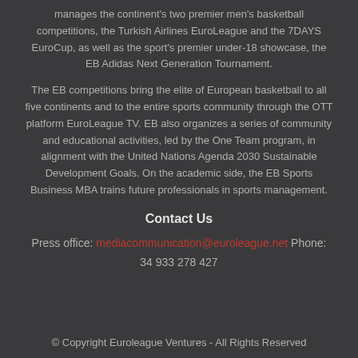manages the continent's two premier men's basketball competitions, the Turkish Airlines EuroLeague and the 7DAYS EuroCup, as well as the sport's premier under-18 showcase, the EB Adidas Next Generation Tournament.
The EB competitions bring the elite of European basketball to all five continents and to the entire sports community through the OTT platform EuroLeague TV. EB also organizes a series of community and educational activities, led by the One Team program, in alignment with the United Nations Agenda 2030 Sustainable Development Goals. On the academic side, the EB Sports Business MBA trains future professionals in sports management.
Contact Us
Press office: mediacommunication@euroleague.net Phone: 34 933 278 427
© Copyright Euroleague Ventures - All Rights Reserved